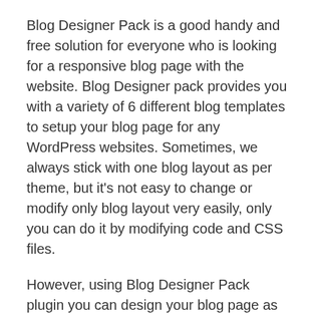Blog Designer Pack is a good handy and free solution for everyone who is looking for a responsive blog page with the website. Blog Designer pack provides you with a variety of 6 different blog templates to setup your blog page for any WordPress websites. Sometimes, we always stick with one blog layout as per theme, but it's not easy to change or modify only blog layout very easily, only you can do it by modifying code and CSS files.
However, using Blog Designer Pack plugin you can design your blog page as per your choice to give it a WOW factor. Also you can modify various settings very quickly with the help of Blog Designer pack plugin shortcode parameters. So, beginners can start blogging within 5 minutes, no coding skill required.
✅ PRO FEATURES INCLUDE :